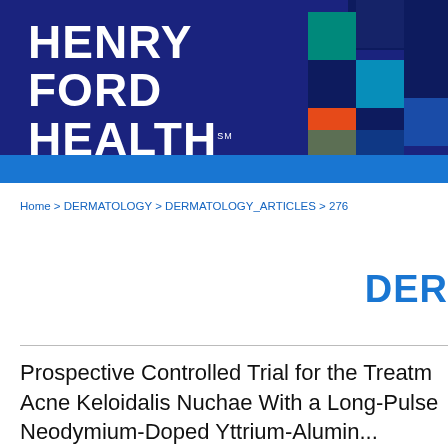[Figure (logo): Henry Ford Health logo — white bold text on dark navy blue background with colorful pixel/square grid pattern on the right side and a blue bar below]
Home > DERMATOLOGY > DERMATOLOGY_ARTICLES > 276
DERM
Prospective Controlled Trial for the Treatment of Acne Keloidalis Nuchae With a Long-Pulsed Neodymium-Doped Yttrium-Alumini...